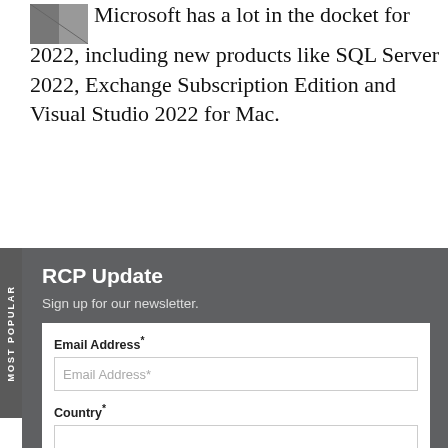[Figure (photo): Small thumbnail image in the top-left corner of the article]
Microsoft has a lot in the docket for 2022, including new products like SQL Server 2022, Exchange Subscription Edition and Visual Studio 2022 for Mac.
RCP Update
Sign up for our newsletter.
Email Address*
Country*
I accept this site's Privacy Policy